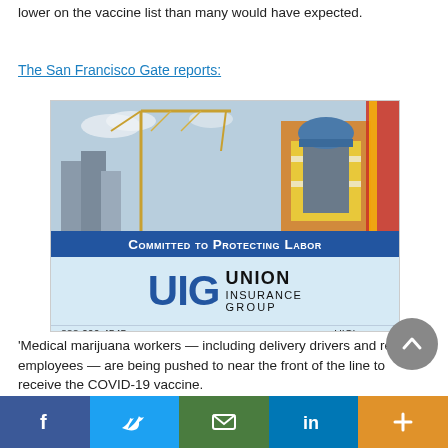lower on the vaccine list than many would have expected.
The San Francisco Gate reports:
[Figure (advertisement): Union Insurance Group advertisement featuring a construction worker in a hard hat and safety vest with a crane in the background. Blue banner reads 'Committed to Protecting Labor'. Logo shows UIG Union Insurance Group. Contact: 888-200-4545 and www.UIGins.com]
'Medical marijuana workers — including delivery drivers and retail employees — are being pushed to near the front of the line to receive the COVID-19 vaccine.